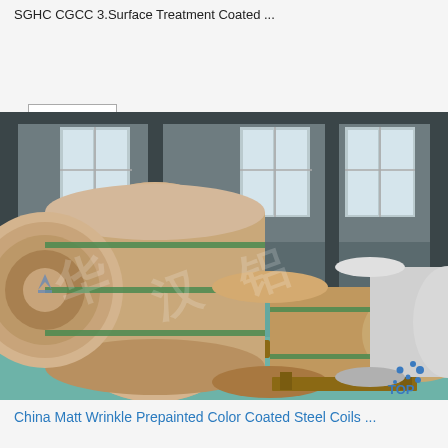SGHC CGCC 3.Surface Treatment Coated ...
Get Price
[Figure (photo): Industrial warehouse interior showing large steel coils wrapped in brown paper packaging, secured with green straps and placed on wooden pallets. Multiple coils visible with a watermark overlay. A blue 'TOP' logo with dots visible in the bottom right corner.]
China Matt Wrinkle Prepainted Color Coated Steel Coils ...